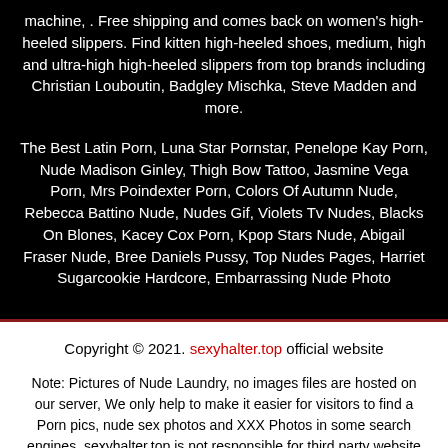machine, . Free shipping and comes back on women's high-heeled slippers. Find kitten high-heeled shoes, medium, high and ultra-high high-heeled slippers from top brands including Christian Louboutin, Badgley Mischka, Steve Madden and more.
The Best Latin Porn, Luna Star Pornstar, Penelope Kay Porn, Nude Madison Ginley, Thigh Bow Tattoo, Jasmine Vega Porn, Mrs Poindexter Porn, Colors Of Autumn Nude, Rebecca Battino Nude, Nudes Gif, Violets Tv Nudes, Blacks On Blones, Kacey Cox Porn, Kpop Stars Nude, Abigail Fraser Nude, Bree Daniels Pussy, Top Nudes Pages, Harriet Sugarcookie Hardcore, Embarrassing Nude Photo
Copyright © 2021. sexyhalter.top official website
Note: Pictures of Nude Laundry, no images files are hosted on our server, We only help to make it easier for visitors to find a Porn pics, nude sex photos and XXX Photos in some search engines. sexyhalter.top is not responsible for third party website content. If one of this file is your intelectual property (copyright infringement) or child pornography / immature sounds, please send report to abusedmsa[at]protonmail.com.